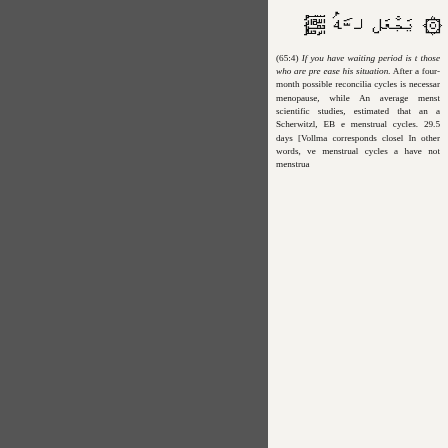﷽ يَجْعَل لَّهُ ۞
(65:4) If you have doubt about those whose waiting period is that of three months and those who are pregnant… ease his situation. After a four-month period allowing for possible reconciliation, a waiting period of three cycles is necessary, except for those past menopause, while those pregnant wait until delivery. An average menstrual cycle, according to various scientific studies, consistently averages 29.5 days. It is estimated that an average menstrual cycle (Treloar, Scherwitzl, EB et al.) roughly equals 3 menstrual cycles. The synodic month averages 29.5 days [Vollmann, EB et al.], which closely corresponds closely to the menstrual cycle. In other words, very roughly speaking, three menstrual cycles are equivalent for those who have not menstruated…